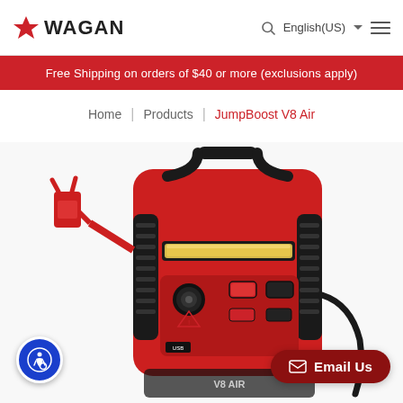WAGAN — English(US)
Free Shipping on orders of $40 or more (exclusions apply)
Home | Products | JumpBoost V8 Air
[Figure (photo): Red Wagan JumpBoost V8 Air portable jump starter with air compressor, showing jumper cables, COB LED light bar, control panel, and carrying handle on a white background.]
Email Us